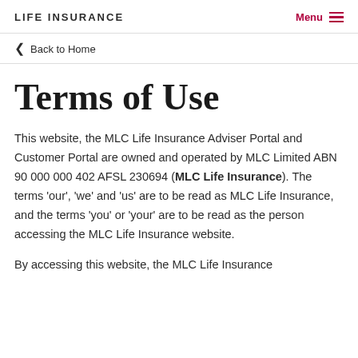LIFE INSURANCE
Back to Home
Terms of Use
This website, the MLC Life Insurance Adviser Portal and Customer Portal are owned and operated by MLC Limited ABN 90 000 000 402 AFSL 230694 (MLC Life Insurance). The terms 'our', 'we' and 'us' are to be read as MLC Life Insurance, and the terms 'you' or 'your' are to be read as the person accessing the MLC Life Insurance website.
By accessing this website, the MLC Life Insurance